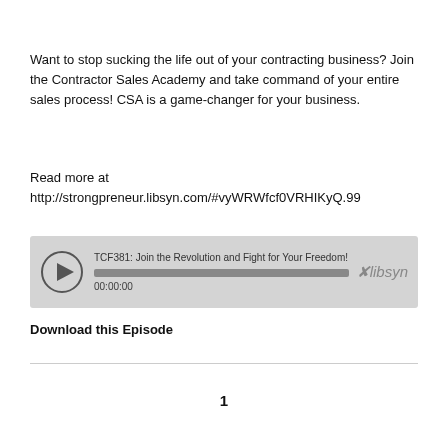Want to stop sucking the life out of your contracting business? Join the Contractor Sales Academy and take command of your entire sales process! CSA is a game-changer for your business.
Read more at http://strongpreneur.libsyn.com/#vyWRWfcf0VRHIKyQ.99
[Figure (other): Audio player widget showing episode 'TCF381: Join the Revolution and Fight for Your Freedom!' with play button, progress bar at 00:00:00, and Libsyn logo]
Download this Episode
1